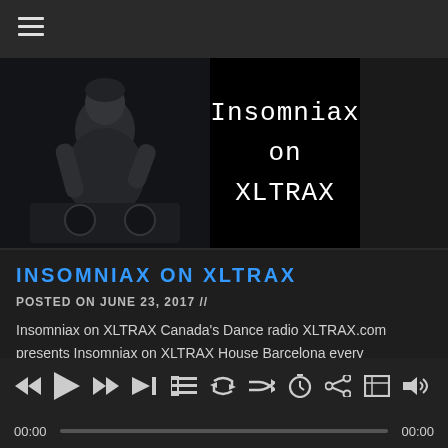☰ (hamburger menu)
[Figure (photo): Banner image showing a DJ photo on the left (black and white, DJ at decks) and black panel on the right with white text 'Insomniax on XLTRAX' in courier font]
INSOMNIAX ON XLTRAX
POSTED ON JUNE 23, 2017 //
Insomniax on XLTRAX Canada's Dance radio XLTRAX.com presents Insomniax on XLTRAX House Barcelona every Friday at 5pm eastern standard time. Listen to mixes done by DJ, Marcelo Wolf. He is a DJ of Chilean origin and based in
Media player controls: rewind, play, fast-forward, skip, playlist, repeat, shuffle, timer, share, crop, volume | 00:00 — progress bar — 00:00